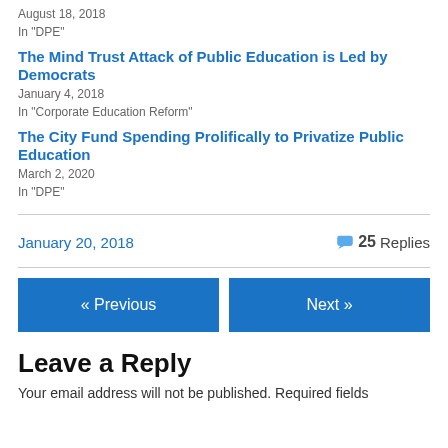August 18, 2018
In "DPE"
The Mind Trust Attack of Public Education is Led by Democrats
January 4, 2018
In "Corporate Education Reform"
The City Fund Spending Prolifically to Privatize Public Education
March 2, 2020
In "DPE"
January 20, 2018   25 Replies
« Previous
Next »
Leave a Reply
Your email address will not be published. Required fields